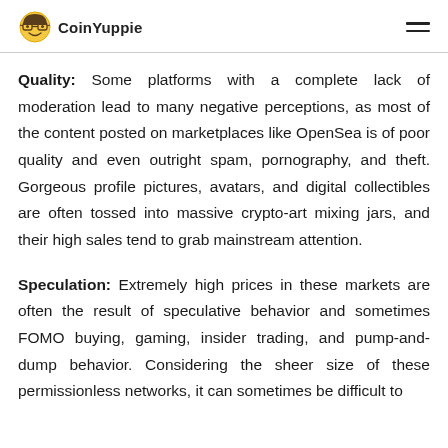CoinYuppie
Quality: Some platforms with a complete lack of moderation lead to many negative perceptions, as most of the content posted on marketplaces like OpenSea is of poor quality and even outright spam, pornography, and theft. Gorgeous profile pictures, avatars, and digital collectibles are often tossed into massive crypto-art mixing jars, and their high sales tend to grab mainstream attention.
Speculation: Extremely high prices in these markets are often the result of speculative behavior and sometimes FOMO buying, gaming, insider trading, and pump-and-dump behavior. Considering the sheer size of these permissionless networks, it can sometimes be difficult to